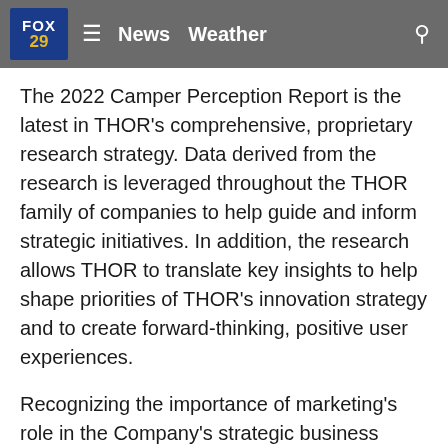FOX 29  ☰  News  Weather  🔍
The 2022 Camper Perception Report is the latest in THOR's comprehensive, proprietary research strategy. Data derived from the research is leveraged throughout the THOR family of companies to help guide and inform strategic initiatives. In addition, the research allows THOR to translate key insights to help shape priorities of THOR's innovation strategy and to create forward-thinking, positive user experiences.
Recognizing the importance of marketing's role in the Company's strategic business model, Renee Jones has been named Vice President of Marketing for THOR Industries, reporting to COO Todd Woelfer. Jones, who has been head of corporate marketing for three years, will continue her role in the development and execution of the organization's communication strategies, management of corporate partnerships, public relations and strategic